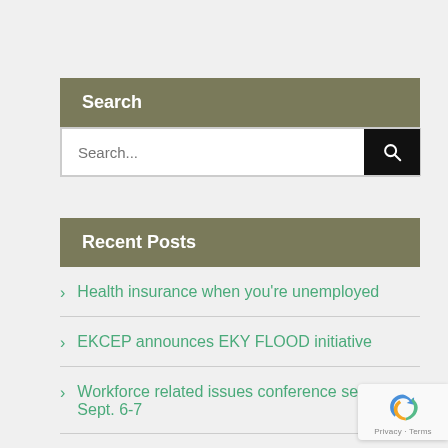Search
Search...
Recent Posts
Health insurance when you're unemployed
EKCEP announces EKY FLOOD initiative
Workforce related issues conference set for Sept. 6-7